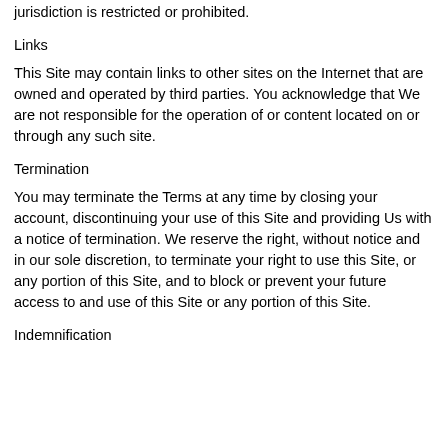jurisdiction is restricted or prohibited.
Links
This Site may contain links to other sites on the Internet that are owned and operated by third parties. You acknowledge that We are not responsible for the operation of or content located on or through any such site.
Termination
You may terminate the Terms at any time by closing your account, discontinuing your use of this Site and providing Us with a notice of termination. We reserve the right, without notice and in our sole discretion, to terminate your right to use this Site, or any portion of this Site, and to block or prevent your future access to and use of this Site or any portion of this Site.
Indemnification